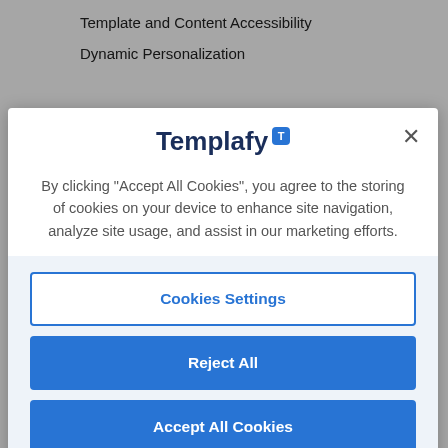Template and Content Accessibility
Dynamic Personalization
[Figure (screenshot): Cookie consent modal dialog with Templafy logo and T badge, close button (×), body text about accepting cookies, and three buttons: Cookies Settings (outline), Reject All (blue), Accept All Cookies (blue), on a light blue footer background with a dimmed overlay behind the modal.]